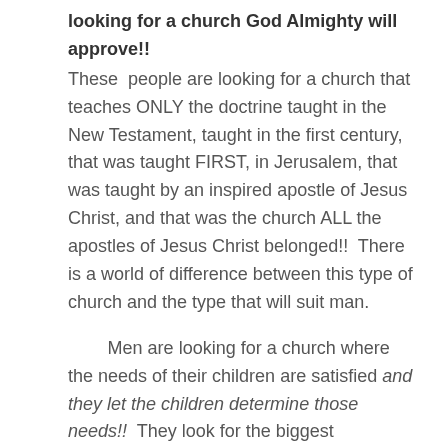looking for a church God Almighty will approve!!
These people are looking for a church that teaches ONLY the doctrine taught in the New Testament, taught in the first century, that was taught FIRST, in Jerusalem, that was taught by an inspired apostle of Jesus Christ, and that was the church ALL the apostles of Jesus Christ belonged!! There is a world of difference between this type of church and the type that will suit man.
Men are looking for a church where the needs of their children are satisfied and they let the children determine those needs!! They look for the biggest congregation with children the ages of their children, a playground or gymnasium, fun games and coloring, cookies and ice cream, and one where the most